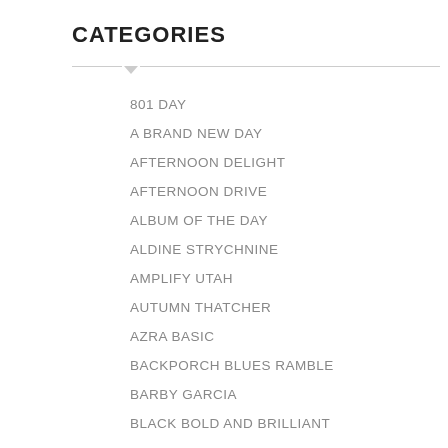CATEGORIES
801 DAY
A BRAND NEW DAY
AFTERNOON DELIGHT
AFTERNOON DRIVE
ALBUM OF THE DAY
ALDINE STRYCHNINE
AMPLIFY UTAH
AUTUMN THATCHER
AZRA BASIC
BACKPORCH BLUES RAMBLE
BARBY GARCIA
BLACK BOLD AND BRILLIANT
BLACK BOLD AND BRILLIANT
BLACK REFRACTIONS